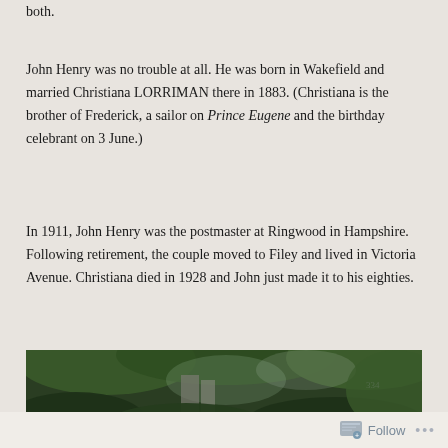both.
John Henry was no trouble at all. He was born in Wakefield and married Christiana LORRIMAN there in 1883. (Christiana is the brother of Frederick, a sailor on Prince Eugene and the birthday celebrant on 3 June.)
In 1911, John Henry was the postmaster at Ringwood in Hampshire. Following retirement, the couple moved to Filey and lived in Victoria Avenue. Christiana died in 1928 and John just made it to his eighties.
[Figure (photo): A dark outdoor photograph showing dense green foliage and trees, with some stone or architectural elements visible through the leaves.]
Follow ...